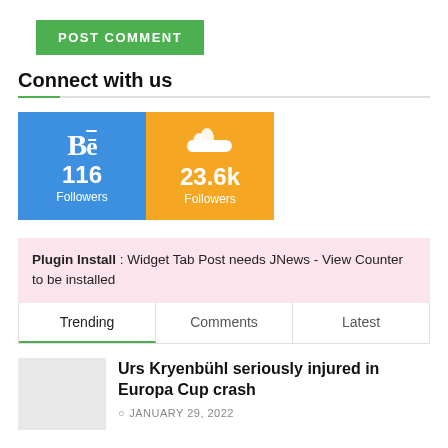POST COMMENT
Connect with us
[Figure (infographic): Two social media follower count boxes: Behance (blue) showing 116 Followers, and SoundCloud (orange) showing 23.6k Followers]
Plugin Install : Widget Tab Post needs JNews - View Counter to be installed
Trending | Comments | Latest
Urs Kryenbühl seriously injured in Europa Cup crash
JANUARY 29, 2022